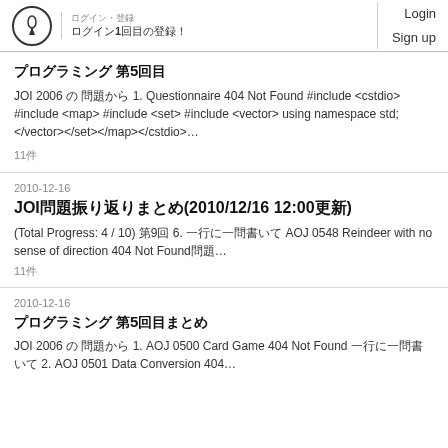ログイン・登録 | ログイン1回目の登録！ | Login | Sign up
プログラミング 第5回目
JOI 2006 の 問題から 1. Questionnaire 404 Not Found #include <cstdio> #include <map> #include <set> #include <vector> using namespace std; </vector></set></map></cstdio>…
11件
2010-12-16
JOI問題振り返りまとめ(2010/12/16 12:00更新)
(Total Progress: 4 / 10) 第9回 6. 一行に一問書いて AOJ 0548 Reindeer with no sense of direction 404 Not Found問題…
11件
2010-12-16
プログラミング 第5回目まとめ
JOI 2006 の 問題から 1. AOJ 0500 Card Game 404 Not Found 一行に一問書いて 2. AOJ 0501 Data Conversion 404…